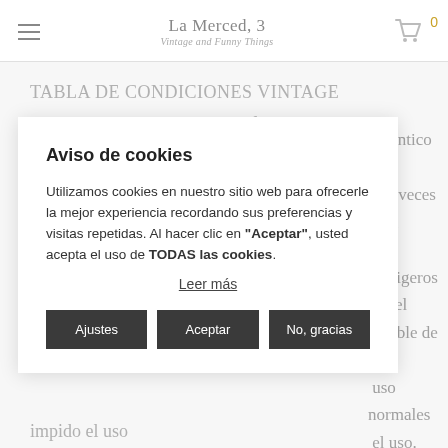La Merced, 3 Vintage and Funny Things
TABLA DE CONDICIONES VINTAGE
Nuevo : Nunca usado, en perfectas condiciones, por lo general se aplica solo a stocks antiguos y muy bien
Aviso de cookies
Utilizamos cookies en nuestro sitio web para ofrecerle la mejor experiencia recordando sus preferencias y visitas repetidas. Al hacer clic en "Aceptar", usted acepta el uso de TODAS las cookies.
Leer más
Ajustes | Aceptar | No, gracias
identico al ... scas veces (una ... ) ... so ligeros por el ... visible de ... uso normales ... el uso. ... evidentes. No
impido el uso